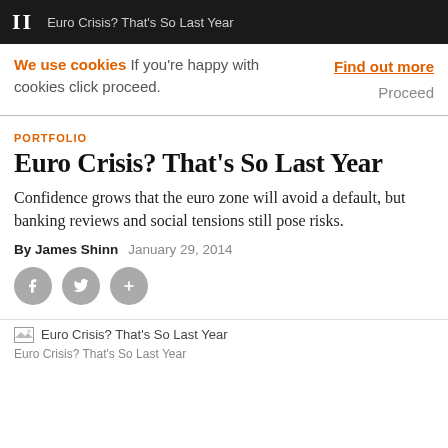II  Euro Crisis? That's So Last Year
We use cookies  If you're happy with cookies click proceed.  Find out more  Proceed
PORTFOLIO
Euro Crisis? That's So Last Year
Confidence grows that the euro zone will avoid a default, but banking reviews and social tensions still pose risks.
By James Shinn  January 29, 2014
[Figure (other): Social sharing icons: Facebook, Twitter, and plus/share button]
[Figure (photo): Image placeholder for 'Euro Crisis? That's So Last Year']
Euro Crisis? That's So Last Year